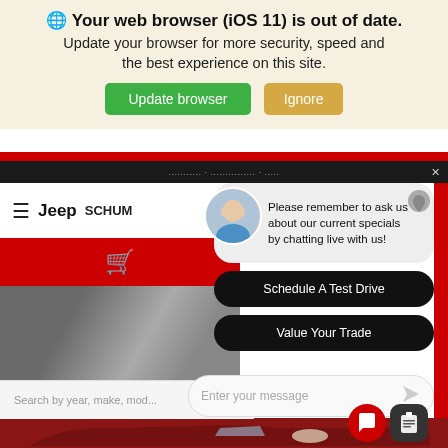Your web browser (iOS 11) is out of date. Update your browser for more security, speed and the best experience on this site.
Update browser
Ignore
[Figure (screenshot): Jeep dealership website (Schum...) with hamburger menu and logo, partially obscured by chat overlay]
Please remember to ask us about our current specials by chatting live with us!
Schedule A Test Drive
Value Your Trade
Search by year, make, mod...
Enter your message
[Figure (photo): Red RAM pickup truck visible at the bottom of the page]